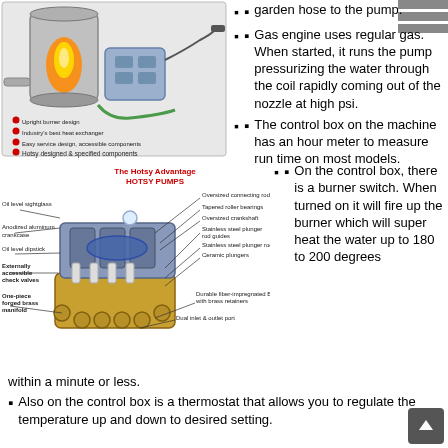[Figure (engineering-diagram): Upright burner design diagram with labels: Upright burner design, Industry's best heat exchanger, Easy service design accessible components, Hotsy designed & specified components]
garden hose to the pump.
Gas engine uses regular gas. When started, it runs the pump pressurizing the water through the coil rapidly coming out of the nozzle at high psi.
The control box on the machine has an hour meter to measure run time on most models.
[Figure (engineering-diagram): The Hotsy Advantage HOTSY PUMPS - labeled cutaway diagram showing: Oil level sightglass, Anodized aluminum crankcase, Oil level dipstick, Externally accessible check valves, One-piece forged brass manifold, Oversized connecting rods, Tapered roller bearings, Oversized crankshaft, Stainless steel plunger rod guides, Stainless steel plunger rods, Ceramic plungers, Durable fiber-impregnated Buna-N-seals with brass retainers, Dual inlet & outlet port]
On the control box, there is a burner switch. When turned on it will fire up the burner which will super heat the water up to 180 to 200 degrees within a minute or less.
Also on the control box is a thermostat that allows you to regulate the temperature up and down to desired setting.